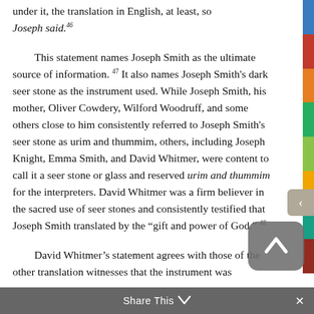under it, the translation in English, at least, so Joseph said.²46
This statement names Joseph Smith as the ultimate source of information.²47 It also names Joseph Smith’s dark seer stone as the instrument used. While Joseph Smith, his mother, Oliver Cowdery, Wilford Woodruff, and some others close to him consistently referred to Joseph Smith’s seer stone as urim and thummim, others, including Joseph Knight, Emma Smith, and David Whitmer, were content to call it a seer stone or glass and reserved urim and thummim for the interpreters. David Whitmer was a firm believer in the sacred use of seer stones and consistently testified that Joseph Smith translated by the “gift and power of God.”²48
David Whitmer’s statement agrees with those of the other translation witnesses that the instrument was